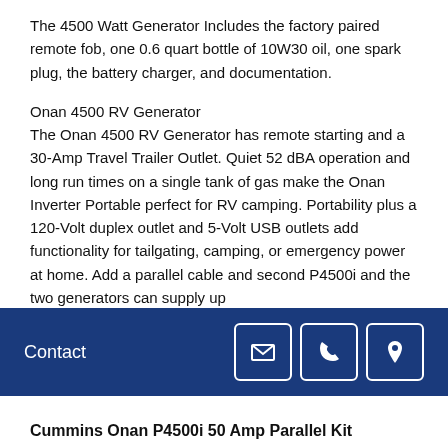The 4500 Watt Generator Includes the factory paired remote fob, one 0.6 quart bottle of 10W30 oil, one spark plug, the battery charger, and documentation.
Onan 4500 RV Generator
The Onan 4500 RV Generator has remote starting and a 30-Amp Travel Trailer Outlet. Quiet 52 dBA operation and long run times on a single tank of gas make the Onan Inverter Portable perfect for RV camping. Portability plus a 120-Volt duplex outlet and 5-Volt USB outlets add functionality for tailgating, camping, or emergency power at home. Add a parallel cable and second P4500i and the two generators can supply up
Contact
Cummins Onan P4500i 50 Amp Parallel Kit